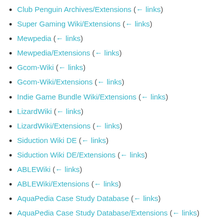Club Penguin Archives/Extensions  (← links)
Super Gaming Wiki/Extensions  (← links)
Mewpedia  (← links)
Mewpedia/Extensions  (← links)
Gcom-Wiki  (← links)
Gcom-Wiki/Extensions  (← links)
Indie Game Bundle Wiki/Extensions  (← links)
LizardWiki  (← links)
LizardWiki/Extensions  (← links)
Siduction Wiki DE  (← links)
Siduction Wiki DE/Extensions  (← links)
ABLEWiki  (← links)
ABLEWiki/Extensions  (← links)
AquaPedia Case Study Database  (← links)
AquaPedia Case Study Database/Extensions  (← links)
Star Bricks Wiki  (← links)
Star Bricks Wiki/Extensions  (← links)